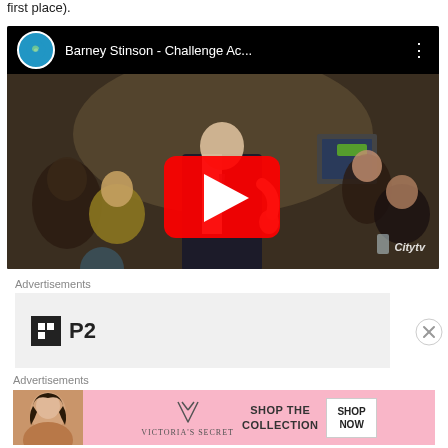first place).
[Figure (screenshot): YouTube video embed showing 'Barney Stinson - Challenge Ac...' with a play button overlay. Scene shows a man in a suit in a bar setting with 'Citytv' watermark.]
Advertisements
[Figure (screenshot): Advertisement box showing a P2 logo (black square with grid icon and 'P2' text) on a light grey background. Has a close (X) button.]
Advertisements
[Figure (screenshot): Victoria's Secret advertisement banner showing a woman's photo on the left, VS logo, 'SHOP THE COLLECTION' text, and a 'SHOP NOW' button on a pink background.]